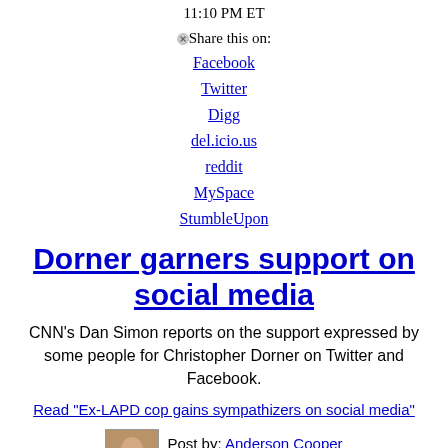11:10 PM ET
Share this on:
Facebook
Twitter
Digg
del.icio.us
reddit
MySpace
StumbleUpon
Dorner garners support on social media
CNN's Dan Simon reports on the support expressed by some people for Christopher Dorner on Twitter and Facebook.
Read "Ex-LAPD cop gains sympathizers on social media"
Post by: Anderson Cooper
Filed under: Crime
soundoff (One Response)